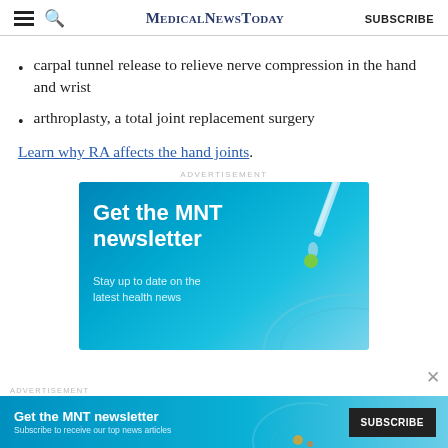MedicalNewsToday SUBSCRIBE
carpal tunnel release to relieve nerve compression in the hand and wrist
arthroplasty, a total joint replacement surgery
Learn why RA affects the hand joints.
[Figure (illustration): MedicalNewsToday advertisement banner: 'Get the MNT newsletter — Stay up to date on the latest health news' with dropper and petri dish illustration on blue gradient background]
[Figure (illustration): Bottom sticky MNT newsletter advertisement bar with subscribe button]